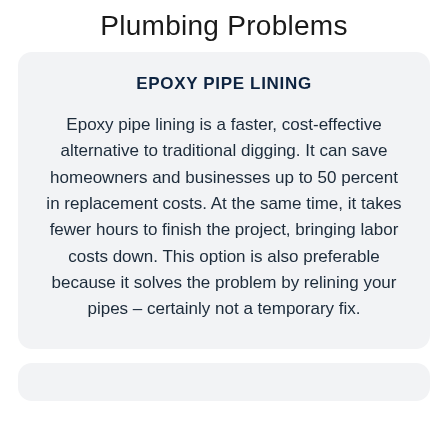Plumbing Problems
EPOXY PIPE LINING
Epoxy pipe lining is a faster, cost-effective alternative to traditional digging. It can save homeowners and businesses up to 50 percent in replacement costs. At the same time, it takes fewer hours to finish the project, bringing labor costs down. This option is also preferable because it solves the problem by relining your pipes – certainly not a temporary fix.